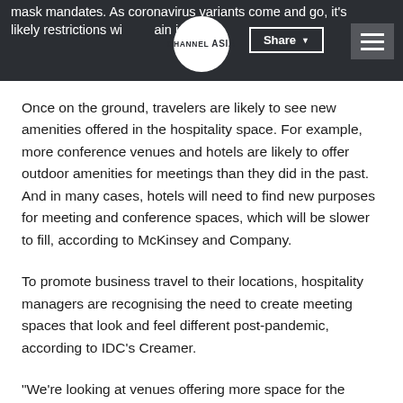mask mandates. As coronavirus variants come and go, it's likely restrictions will remain in place. CHANNEL ASIA | Share | ☰
Once on the ground, travelers are likely to see new amenities offered in the hospitality space. For example, more conference venues and hotels are likely to offer outdoor amenities for meetings than they did in the past. And in many cases, hotels will need to find new purposes for meeting and conference spaces, which will be slower to fill, according to McKinsey and Company.
To promote business travel to their locations, hospitality managers are recognising the need to create meeting spaces that look and feel different post-pandemic, according to IDC's Creamer.
“We’re looking at venues offering more space for the same